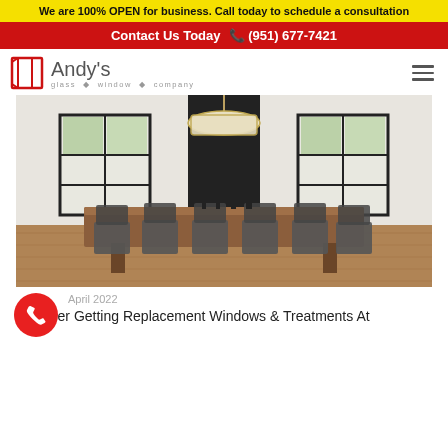We are 100% OPEN for business. Call today to schedule a consultation
Contact Us Today  (951) 677-7421
[Figure (logo): Andy's Glass & Window Company logo with red window/door icon and gray text]
[Figure (photo): Interior dining room with large black-framed windows, a wooden dining table surrounded by dark chairs, hardwood floor, and a pendant chandelier]
April 2022
Consider Getting Replacement Windows & Treatments At